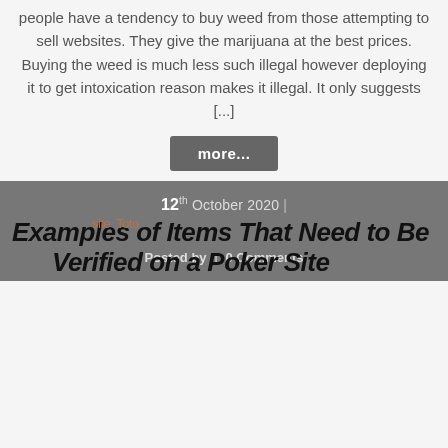people have a tendency to buy weed from those attempting to sell websites. They give the marijuana at the best prices. Buying the weed is much less such illegal however deploying it to get intoxication reason makes it illegal. It only suggests [...]
more...
12th October 2020 |
Examples of Items That Need to Be Verified on a Poker Site
Posted by site Toto | 0 Comments